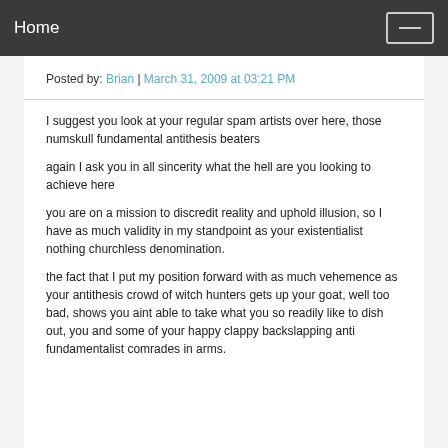Home
Posted by: Brian | March 31, 2009 at 03:21 PM
I suggest you look at your regular spam artists over here, those numskull fundamental antithesis beaters
again I ask you in all sincerity what the hell are you looking to achieve here
you are on a mission to discredit reality and uphold illusion, so I have as much validity in my standpoint as your existentialist nothing churchless denomination.
the fact that I put my position forward with as much vehemence as your antithesis crowd of witch hunters gets up your goat, well too bad, shows you aint able to take what you so readily like to dish out, you and some of your happy clappy backslapping anti fundamentalist comrades in arms.